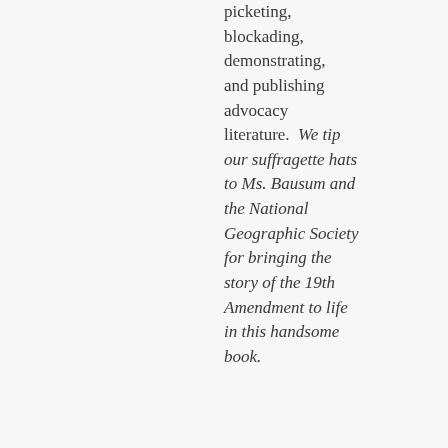picketing, blockading, demonstrating, and publishing advocacy literature.  We tip our suffragette hats to Ms. Bausum and the National Geographic Society for bringing the story of the 19th Amendment to life in this handsome book.